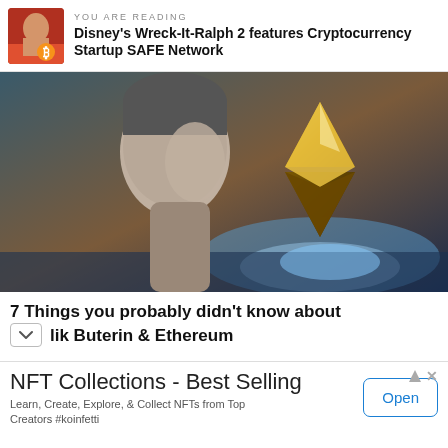YOU ARE READING
Disney's Wreck-It-Ralph 2 features Cryptocurrency Startup SAFE Network
[Figure (photo): Person in profile view with Ethereum diamond logo in background, against a dramatic blue/orange sky backdrop]
7 Things you probably didn't know about vik Buterin & Ethereum
NFT Collections - Best Selling
Learn, Create, Explore, & Collect NFTs from Top Creators #koinfetti